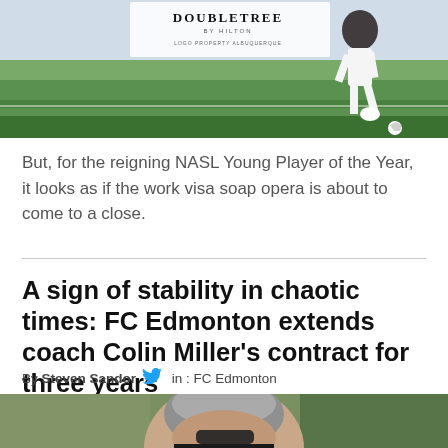[Figure (photo): Soccer player in white uniform kicking, with DoubleTree by Hilton signage visible in background on green field]
But, for the reigning NASL Young Player of the Year, it looks as if the work visa soap opera is about to come to a close.
A sign of stability in chaotic times: FC Edmonton extends coach Colin Miller's contract for three years
By Steven Sandor  [twitter icon]  in : FC Edmonton
[Figure (photo): Close-up photo of Colin Miller, a middle-aged man with short grey hair wearing sunglasses and a dark jacket, looking down on a sports field]